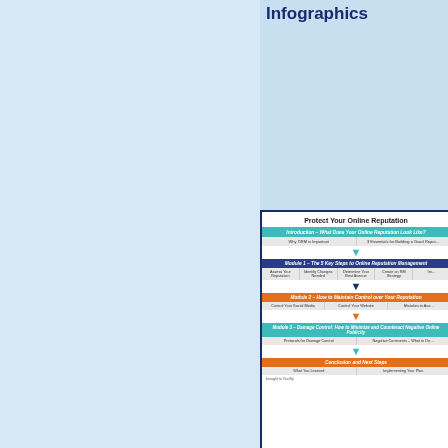Infographics
[Figure (infographic): Protect Your Online Reputation overview infographic showing modules: Introduction, Module 1 - The 5 Key Steps to Online Reputation Management, Module 2 - How to Maintain Control over Your Reputation, Module 3 - Damage Control: How to Minimize and Counteract Negative Online Publicity, Conclusion and Next Steps]
Protect Your Online Reputation – Oberview Infographics